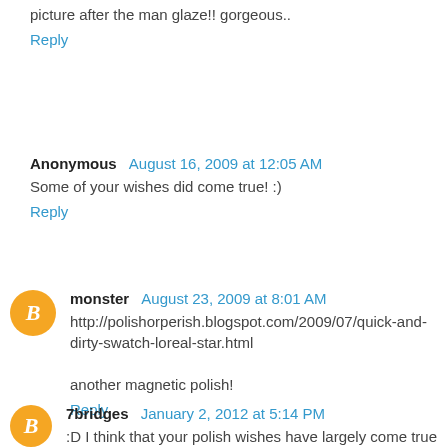picture after the man glaze!! gorgeous..
Reply
Anonymous  August 16, 2009 at 12:05 AM
Some of your wishes did come true! :)
Reply
monster  August 23, 2009 at 8:01 AM
http://polishorperish.blogspot.com/2009/07/quick-and-dirty-swatch-loreal-star.html
another magnetic polish!
Reply
7bridges  January 2, 2012 at 5:14 PM
:D I think that your polish wishes have largely come true